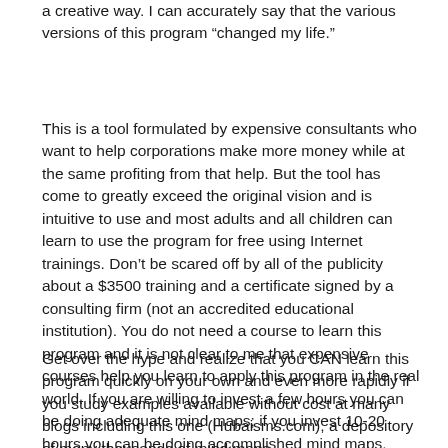a creative way. I can accurately say that the various versions of this program “changed my life.”
This is a tool formulated by expensive consultants who want to help corporations make more money while at the same profiting from that help. But the tool has come to greatly exceed the original vision and is intuitive to use and most adults and all children can learn to use the program for free using Internet trainings. Don’t be scared off by all of the publicity about a $3500 training and a certificate signed by a consulting firm (not an accredited educational institution). You do not need a course to learn this program and it is not clear to me that expensive courses help you learn to apply this program in the real world. If you are willing to invest a few hours you can be doing adequate mind maps; if you invest 10-20 hours you can be doing accomplished mind maps.
Get over the hype and realize that you CAN learn this program quickly on your own and even more rapidly if you study examples available without cost at many blogs including this one (Hubaisms.com), a depository of many thousands of mind maps